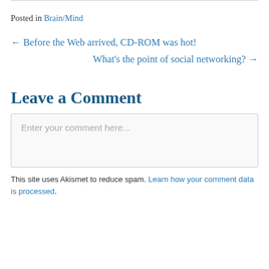Posted in Brain/Mind
← Before the Web arrived, CD-ROM was hot!
What's the point of social networking? →
Leave a Comment
Enter your comment here...
This site uses Akismet to reduce spam. Learn how your comment data is processed.